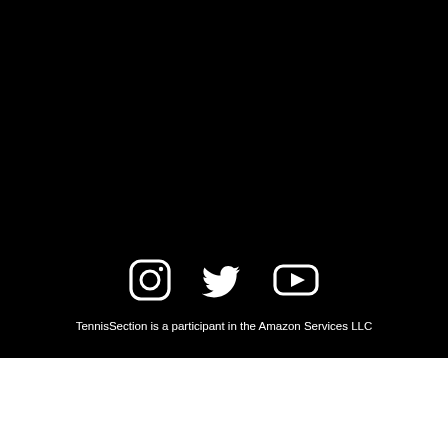[Figure (illustration): Social media icons row: Instagram (rounded square camera icon), Twitter (bird icon), YouTube (play button in rounded rectangle), displayed in white on black background]
TennisSection is a participant in the Amazon Services LLC